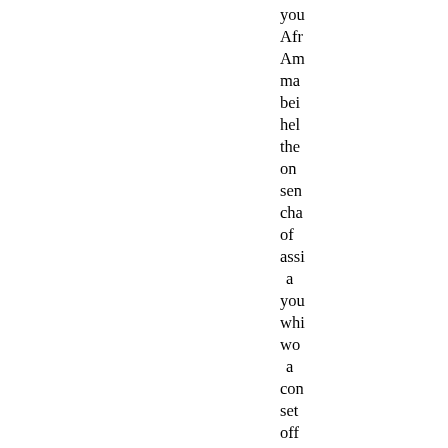you Afr Am ma bei hel the on sen cha of ass a you whi wo a con set off the riot Ov